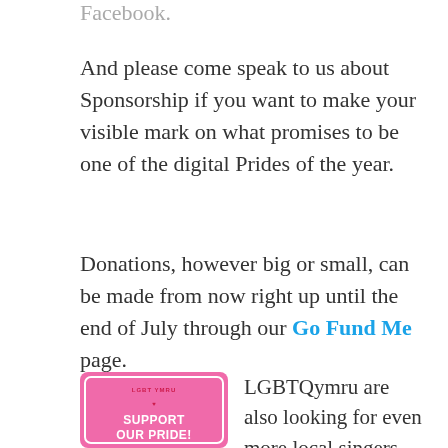Facebook.
And please come speak to us about Sponsorship if you want to make your visible mark on what promises to be one of the digital Prides of the year.
Donations, however big or small, can be made from now right up until the end of July through our Go Fund Me page.
[Figure (illustration): Pink square image with white border, showing 'LGBT Ymru' logo and bold white text reading 'SUPPORT OUR PRIDE!']
LGBTQymru are also looking for even more local singers and other performers to join the